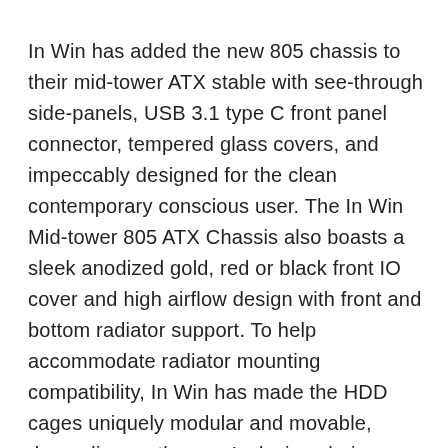In Win has added the new 805 chassis to their mid-tower ATX stable with see-through side-panels, USB 3.1 type C front panel connector, tempered glass covers, and impeccably designed for the clean contemporary conscious user. The In Win Mid-tower 805 ATX Chassis also boasts a sleek anodized gold, red or black front IO cover and high airflow design with front and bottom radiator support. To help accommodate radiator mounting compatibility, In Win has made the HDD cages uniquely modular and movable, depending on the user's design choice. Make sure you take some time to check out the In Win Mid-tower 805 ATX Chassis below.